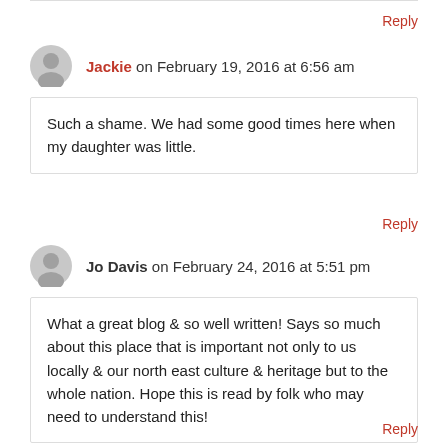Reply
Jackie on February 19, 2016 at 6:56 am
Such a shame. We had some good times here when my daughter was little.
Reply
Jo Davis on February 24, 2016 at 5:51 pm
What a great blog & so well written! Says so much about this place that is important not only to us locally & our north east culture & heritage but to the whole nation. Hope this is read by folk who may need to understand this!
Reply